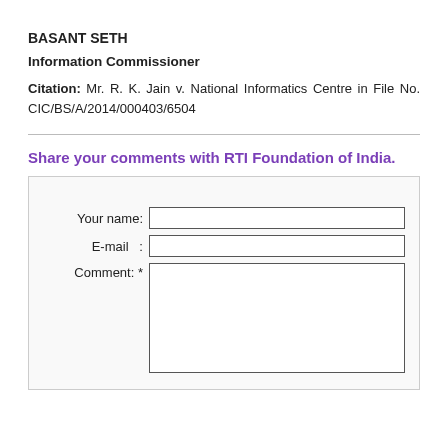BASANT SETH
Information Commissioner
Citation: Mr. R. K. Jain v. National Informatics Centre in File No. CIC/BS/A/2014/000403/6504
Share your comments with RTI Foundation of India.
[Figure (other): Web form with fields: Your name (text input), E-mail (text input), Comment (textarea)]